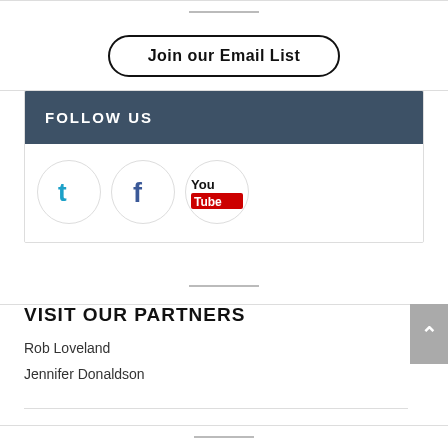Join our Email List
FOLLOW US
[Figure (logo): Social media icons: Twitter (teal t), Facebook (blue f), YouTube (You Tube red/white logo) — each inside a circle]
VISIT OUR PARTNERS
Rob Loveland
Jennifer Donaldson